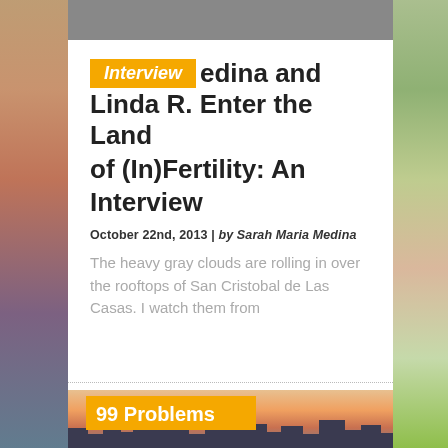Interview — edina and Linda R. Enter the Land of (In)Fertility: An Interview
October 22nd, 2013 | by Sarah Maria Medina
The heavy gray clouds are rolling in over the rooftops of San Cristobal de Las Casas. I watch them from
[Figure (photo): Bottom section showing a sunset/dusk cityscape with silhouetted buildings and a '99 Problems' badge overlay]